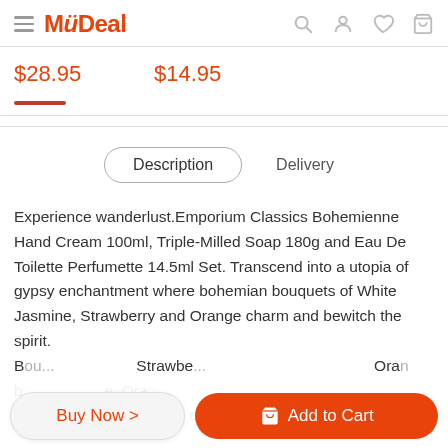MyDeal
$28.95    $14.95
Description    Delivery
Experience wanderlust.Emporium Classics Bohemienne Hand Cream 100ml, Triple-Milled Soap 180g and Eau De Toilette Perfumette 14.5ml Set. Transcend into a utopia of gypsy enchantment where bohemian bouquets of White Jasmine, Strawberry and Orange charm and bewitch the spirit. Bou... Strawbe... Ora... oils, this smoothing hand cream leaves skin silky-soft and
Buy Now >    Add to Cart